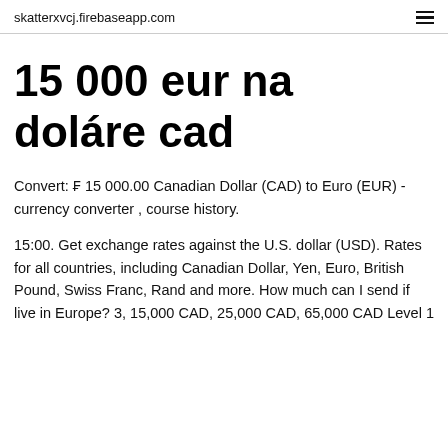skatterxvcj.firebaseapp.com
15 000 eur na doláre cad
Convert: ₣ 15 000.00 Canadian Dollar (CAD) to Euro (EUR) - currency converter , course history.
15:00. Get exchange rates against the U.S. dollar (USD). Rates for all countries, including Canadian Dollar, Yen, Euro, British Pound, Swiss Franc, Rand and more. How much can I send if live in Europe? 3, 15,000 CAD, 25,000 CAD, 65,000 CAD Level 1